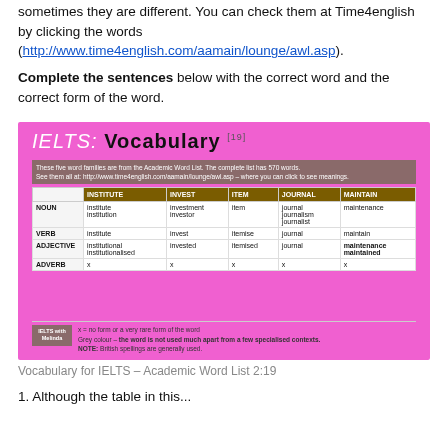sometimes they are different. You can check them at Time4english by clicking the words (http://www.time4english.com/aamain/lounge/awl.asp).
Complete the sentences below with the correct word and the correct form of the word.
[Figure (table-as-image): IELTS Vocabulary word family table [19] showing five word families: INSTITUTE, INVEST, ITEM, JOURNAL, MAINTAIN with rows for NOUN, VERB, ADJECTIVE, ADVERB. Footnote: x = no form or a very rare form of the word. Grey colour = the word is not used much apart from a few specialised contexts. NOTE: British spellings are generally used.]
Vocabulary for IELTS – Academic Word List 2:19
1. Although the table in this...